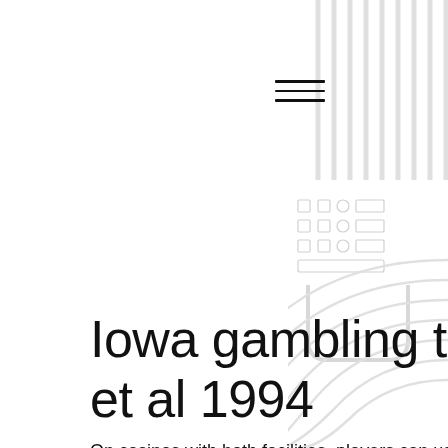[Figure (illustration): Decorative geometric background design on the right side of the page, consisting of vertical lines, grid of small squares/rectangles, curved concentric arc lines, and a U-shaped bracket element, all rendered in light gray.]
[Figure (illustration): Hamburger menu icon with three horizontal parallel lines, centered around x=275, y=90.]
Iowa gambling task bechara et al 1994
On casinos with both facilities, players can use the same login details to use their